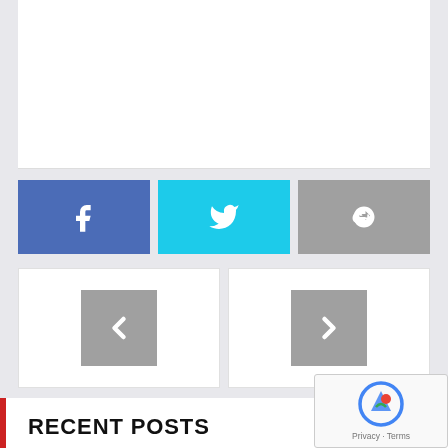[Figure (other): White card area at the top of the page]
[Figure (other): Social share buttons row: Facebook (blue), Twitter (cyan), Google+ (gray)]
[Figure (other): Navigation arrows: left chevron card and right chevron card]
RECENT POSTS
SJFC 2022/2023 FANTASY FOOTBALL LEAGUE– PRIZE TO BE WON
COMMUNITY CUP 2022 – A SUMMARY (PHOTOS AND VIDEOS